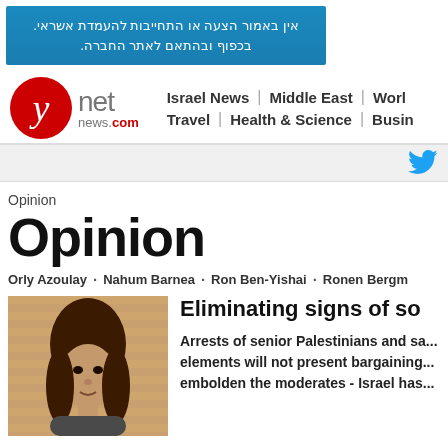[Figure (infographic): Blue advertisement banner with Hebrew text]
ynet news.com | Israel News | Middle East | World | Travel | Health & Science | Business
[Figure (infographic): Twitter bird icon in cyan/blue on light gray bar]
Opinion
Opinion
Orly Azoulay · Nahum Barnea · Ron Ben-Yishai · Ronen Bergm...
[Figure (photo): Portrait photo of a woman with long hair on striped background]
Eliminating signs of so...
Arrests of senior Palestinians and sa... elements will not present bargaining... embolden the moderates - Israel has...